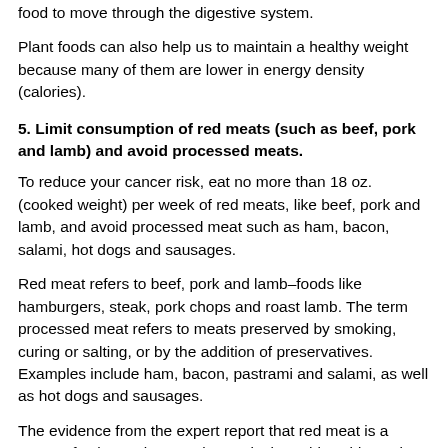food to move through the digestive system.
Plant foods can also help us to maintain a healthy weight because many of them are lower in energy density (calories).
5. Limit consumption of red meats (such as beef, pork and lamb) and avoid processed meats.
To reduce your cancer risk, eat no more than 18 oz. (cooked weight) per week of red meats, like beef, pork and lamb, and avoid processed meat such as ham, bacon, salami, hot dogs and sausages.
Red meat refers to beef, pork and lamb–foods like hamburgers, steak, pork chops and roast lamb. The term processed meat refers to meats preserved by smoking, curing or salting, or by the addition of preservatives. Examples include ham, bacon, pastrami and salami, as well as hot dogs and sausages.
The evidence from the expert report that red meat is a cause of colorectal cancer is convincing. This evidence is much stronger now